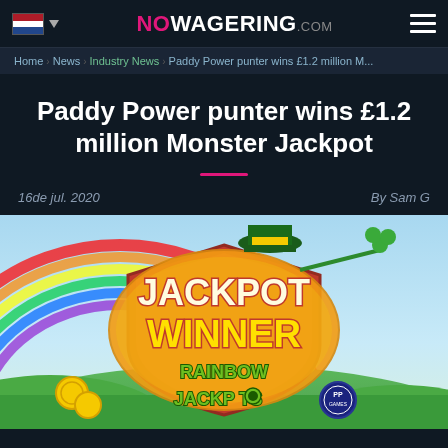NOWAGERING.COM
Home › News › Industry News › Paddy Power punter wins £1.2 million M...
Paddy Power punter wins £1.2 million Monster Jackpot
16 de jul. 2020 By Sam G
[Figure (illustration): Jackpot Winner Rainbow Jackpots promotional image with green hills, rainbow arc, leprechaun hat, gold coins, and shield emblem showing 'JACKPOT WINNER RAINBOW JACKPOTS' text in bold yellow/orange letters with PP Games chip logo]